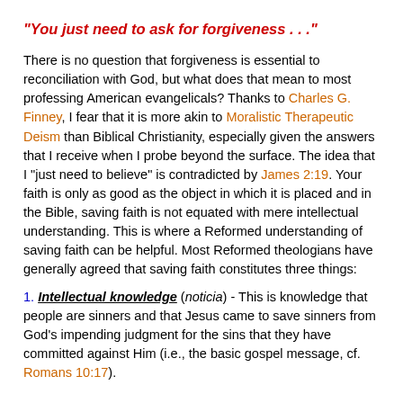"You just need to ask for forgiveness . . ."
There is no question that forgiveness is essential to reconciliation with God, but what does that mean to most professing American evangelicals? Thanks to Charles G. Finney, I fear that it is more akin to Moralistic Therapeutic Deism than Biblical Christianity, especially given the answers that I receive when I probe beyond the surface. The idea that I "just need to believe" is contradicted by James 2:19. Your faith is only as good as the object in which it is placed and in the Bible, saving faith is not equated with mere intellectual understanding. This is where a Reformed understanding of saving faith can be helpful. Most Reformed theologians have generally agreed that saving faith constitutes three things:
1. Intellectual knowledge (noticia) - This is knowledge that people are sinners and that Jesus came to save sinners from God's impending judgment for the sins that they have committed against Him (i.e., the basic gospel message, cf. Romans 10:17).